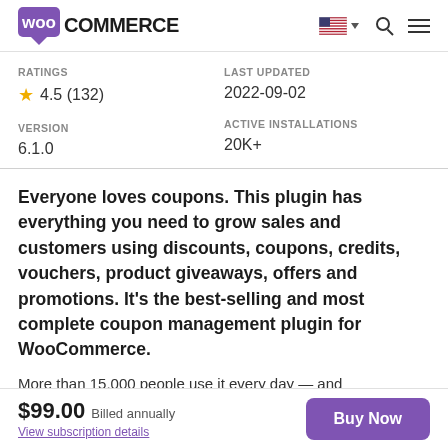[Figure (logo): WooCommerce logo with purple word bubble icon and bold black COMMERCE text]
RATINGS
★ 4.5 (132)
LAST UPDATED
2022-09-02
VERSION
6.1.0
ACTIVE INSTALLATIONS
20K+
Everyone loves coupons. This plugin has everything you need to grow sales and customers using discounts, coupons, credits, vouchers, product giveaways, offers and promotions. It's the best-selling and most complete coupon management plugin for WooCommerce.
More than 15,000 people use it every day — and
$99.00  Billed annually
View subscription details
Buy Now